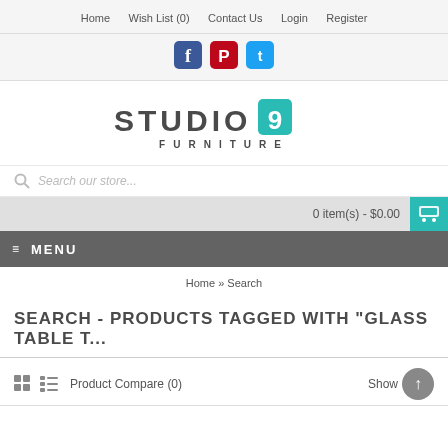Home  Wish List (0)  Contact Us  Login  Register
[Figure (logo): Social media icons: Facebook (blue), Pinterest (red), Twitter (cyan)]
[Figure (logo): Studio 9 Furniture logo — STUDIO with a teal box containing '9', and FURNITURE in spaced caps below]
Search our store...
0 item(s) - $0.00
MENU
Home » Search
SEARCH - PRODUCTS TAGGED WITH "GLASS TABLE T..."
Product Compare (0)   Show